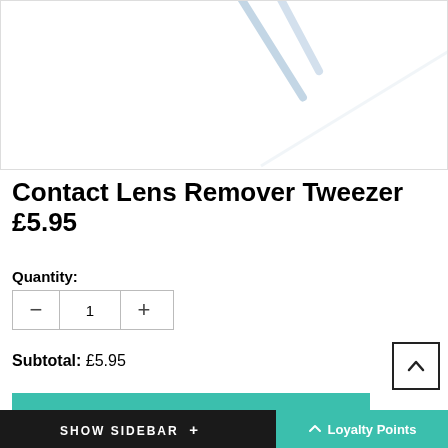[Figure (photo): Partial view of a contact lens remover tweezer product — light blue angled tweezers on white background, top portion of product image]
Contact Lens Remover Tweezer £5.95
Quantity:
1
Subtotal: £5.95
ADD TO CART
SHOW SIDEBAR + Loyalty Points